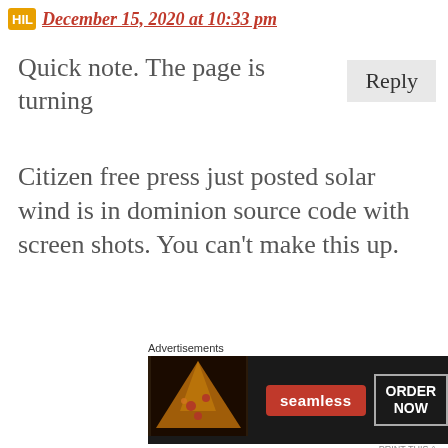December 15, 2020 at 10:33 pm
Quick note. The page is turning
Citizen free press just posted solar wind is in dominion source code with screen shots. You can't make this up.
Dominion CEO states in Michigan hearing today that his company has never used
[Figure (screenshot): Seamless food delivery advertisement banner with pizza image, Seamless red logo button, and ORDER NOW button on dark background]